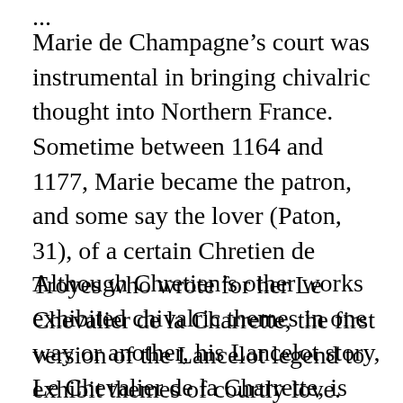...
Marie de Champagne's court was instrumental in bringing chivalric thought into Northern France.  Sometime between 1164 and 1177, Marie became the patron, and some say the lover (Paton, 31), of a certain Chretien de Troyes who wrote for her Le Chevalier de la Charrette, the first version of the Lancelot legend to exhibit themes of courtly love.
Although Chretien's other works exhibited chivalric themes in one way or another, his Lancelot story, Le Chevalier de la Charrette, is fundamentally different than his other, earlier works in that only in Le Chevalier de la